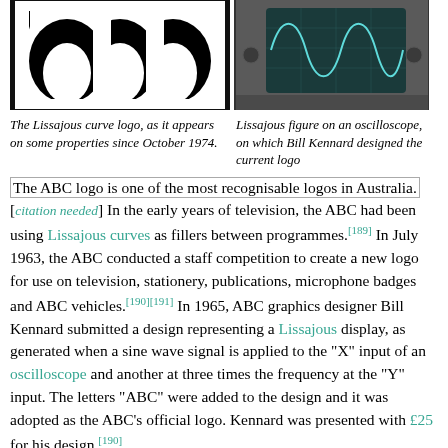[Figure (photo): The Lissajous curve ABC logo in black on white background — large curved W-like shape]
[Figure (photo): Lissajous figure displayed on an oscilloscope screen showing sine wave curves]
The Lissajous curve logo, as it appears on some properties since October 1974.
Lissajous figure on an oscilloscope, on which Bill Kennard designed the current logo
The ABC logo is one of the most recognisable logos in Australia. [citation needed] In the early years of television, the ABC had been using Lissajous curves as fillers between programmes.[189] In July 1963, the ABC conducted a staff competition to create a new logo for use on television, stationery, publications, microphone badges and ABC vehicles.[190][191] In 1965, ABC graphics designer Bill Kennard submitted a design representing a Lissajous display, as generated when a sine wave signal is applied to the "X" input of an oscilloscope and another at three times the frequency at the "Y" input. The letters "ABC" were added to the design and it was adopted as the ABC's official logo. Kennard was presented with £25 for his design.[190]
On 19 October 1974, the Lissajous curve design experienced its first facelift with the line thickened to allow for colour to be used. It would also be treated to the 'over and under' effect, showing the crossover of the line in the design. This logo would be served as